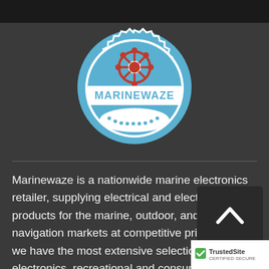[Figure (logo): Marinewaze circular badge logo with ship wheel on blue background and white text MARINEWAZE]
Marinewaze is a nationwide marine electronics retailer, supplying electrical and electronic products for the marine, outdoor, and personal navigation markets at competitive prices. Also, we have the most extensive selection of marine electronics, recreational and consumer-rel...